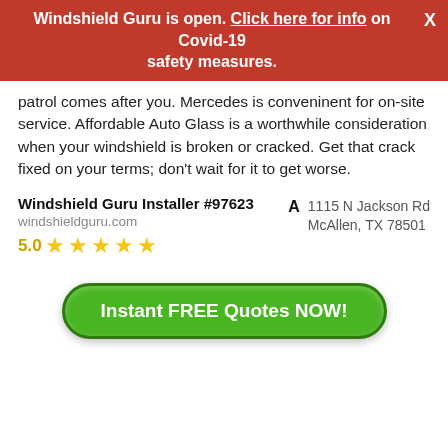Windshield Guru is open. Click here for info on Covid-19 safety measures.
patrol comes after you. Mercedes is conveninent for on-site service. Affordable Auto Glass is a worthwhile consideration when your windshield is broken or cracked. Get that crack fixed on your terms; don't wait for it to get worse.
Windshield Guru Installer #97623
windshieldguru.com
5.0 ★★★★★
1115 N Jackson Rd McAllen, TX 78501
Instant FREE Quotes NOW!